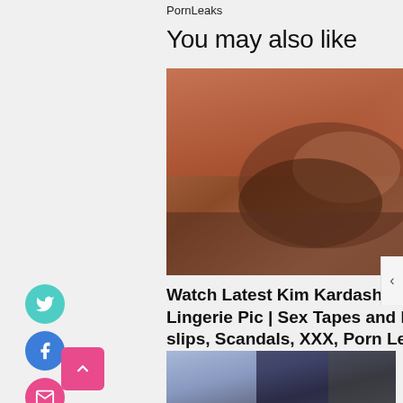PornLeaks
You may also like
[Figure (photo): A woman in lingerie lying on a sofa with orange curtain background]
Watch Latest Kim Kardashian Tweets Lingerie Pic | Sex Tapes and Nipple slips, Scandals, XXX, Porn Leaks
♡ 0   October 26, 2021
[Figure (photo): Second article thumbnail showing a person in plaid shirt and jeans]